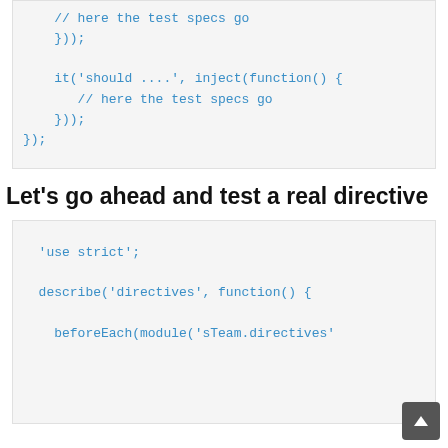[Figure (screenshot): Code block showing JavaScript test code snippet: // here the test specs go, })); it('should ....', inject(function() { // here the test specs go })); });]
Let's go ahead and test a real directive
[Figure (screenshot): Code block showing JavaScript: 'use strict'; describe('directives', function() { beforeEach(module('sTeam.directives']